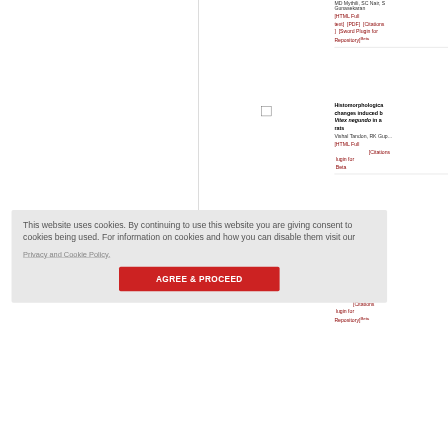MD Mythili, SC Nair, S Gunasekaran
[HTML Full text] [PDF] [Citations] [Sword Plugin for Repository]Beta
Histomorphological changes induced by Vitex negundo in a rats
Vishal Tandon, RK Gup...
[HTML Full [Citations] lugin for Beta
...of sodium ...ute on ca ...d diarhe
...ar, JB ...m
[Citations] lugin for Repository]Beta
This website uses cookies. By continuing to use this website you are giving consent to cookies being used. For information on cookies and how you can disable them visit our
Privacy and Cookie Policy.
AGREE & PROCEED